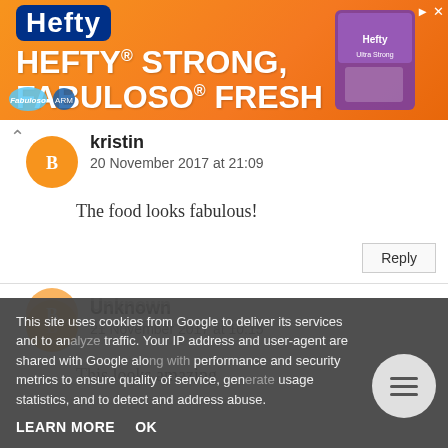[Figure (other): Hefty Strong, Fabuloso Fresh advertisement banner with orange background]
kristin
20 November 2017 at 21:09
The food looks fabulous!
Reply
Unknown
21 November 2017 at 10:15
This looks amazing
Unknown
21 November 2017 at 13:40
This site uses cookies from Google to deliver its services and to analyze traffic. Your IP address and user-agent are shared with Google along with performance and security metrics to ensure quality of service, generate usage statistics, and to detect and address abuse.
LEARN MORE
OK